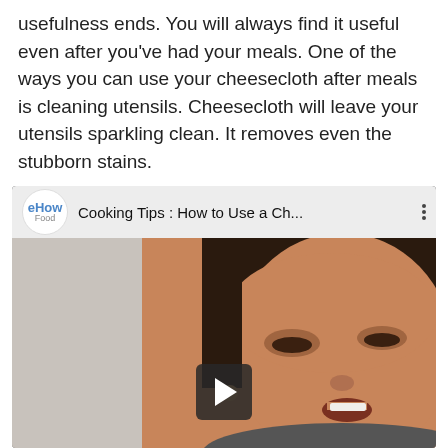usefulness ends. You will always find it useful even after you've had your meals. One of the ways you can use your cheesecloth after meals is cleaning utensils. Cheesecloth will leave your utensils sparkling clean. It removes even the stubborn stains.
[Figure (screenshot): Embedded YouTube video thumbnail from eHow Food channel titled 'Cooking Tips : How to Use a Ch...' showing a woman speaking, with a play button at the bottom center.]